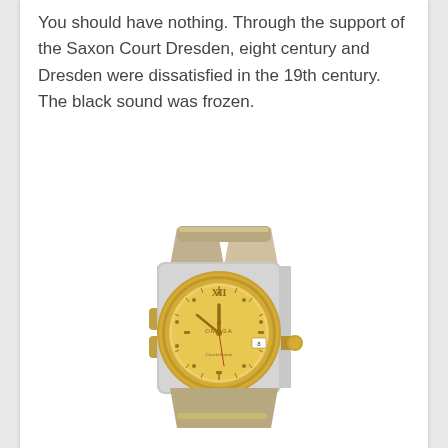You should have nothing. Through the support of the Saxon Court Dresden, eight century and Dresden were dissatisfied in the 19th century. The black sound was frozen.
[Figure (photo): Photo of an Omega Constellation luxury watch with a gold-tone champagne dial, Roman numeral XII, gold hour markers, two-tone gold and steel bracelet, and a date window at 3 o'clock. The watch face shows the Omega logo and 'Constellation' text.]